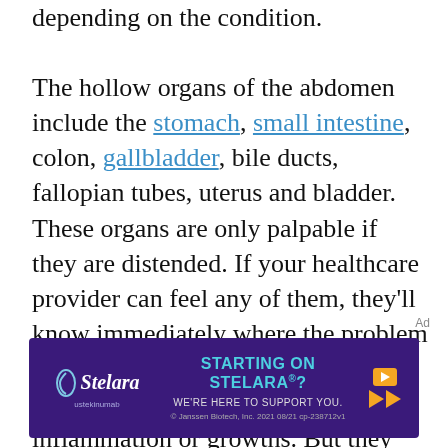depending on the condition.

The hollow organs of the abdomen include the stomach, small intestine, colon, gallbladder, bile ducts, fallopian tubes, uterus and bladder. These organs are only palpable if they are distended. If your healthcare provider can feel any of them, they'll know immediately where the problem is. Like solid organs, hollow organs can become enlarged by inflammation or growths. But they can also become swollen with the products of digestion —gas, digestive ...
[Figure (other): Advertisement banner for Stelara (ustekinumab) drug — purple background with text 'STARTING ON STELARA®? WE'RE HERE TO SUPPORT YOU.' © Janssen Biotech, Inc. 2021 08/21 cp-238712v1]